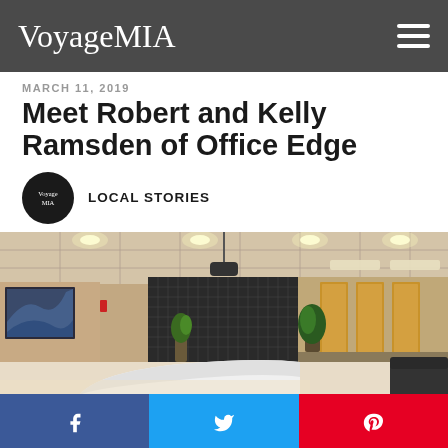VoyageMIA
MARCH 11, 2019
Meet Robert and Kelly Ramsden of Office Edge
LOCAL STORIES
[Figure (photo): Interior of an office building showing a white curved reception desk, dark tiled accent wall, recessed lighting in drop ceiling, wood-paneled walls with glass doors in hallway, abstract artwork on left wall, potted plant near entrance]
Facebook share button, Twitter share button, Pinterest share button